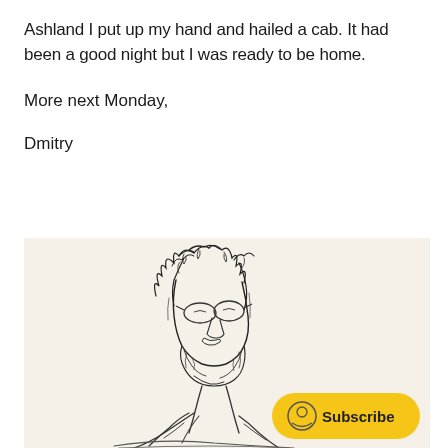Ashland I put up my hand and hailed a cab. It had been a good night but I was ready to be home.
More next Monday,
Dmitry
[Figure (illustration): A pen-and-ink sketch illustration of a bearded man with curly hair and glasses, appearing to be writing or reading. The drawing is done in a loose, expressive style with dark ink lines on a cream/off-white background. A yellow 'Subscribe' button overlay appears in the lower right corner of the image.]